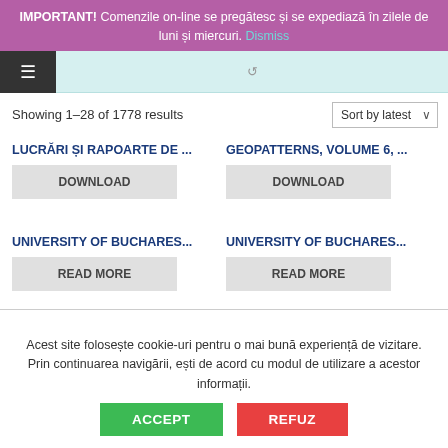IMPORTANT! Comenzile on-line se pregătesc și se expediază în zilele de luni și miercuri. Dismiss
Showing 1–28 of 1778 results
Sort by latest
LUCRĂRI ȘI RAPOARTE DE ...
DOWNLOAD
GEOPATTERNS, VOLUME 6, ...
DOWNLOAD
UNIVERSITY OF BUCHARES...
READ MORE
UNIVERSITY OF BUCHARES...
READ MORE
Acest site folosește cookie-uri pentru o mai bună experiență de vizitare. Prin continuarea navigării, ești de acord cu modul de utilizare a acestor informații.
ACCEPT
REFUZ